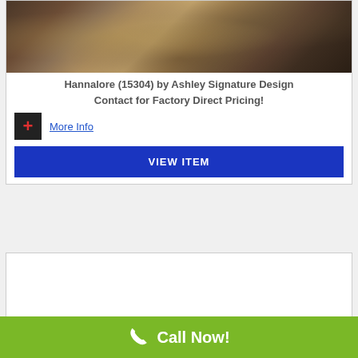[Figure (photo): Photo of a decorative area rug (Hannalore 15304) displayed in a living room setting with leather furniture and a wooden coffee table on a hardwood floor.]
Hannalore (15304) by Ashley Signature Design
Contact for Factory Direct Pricing!
More Info
VIEW ITEM
Call Now!